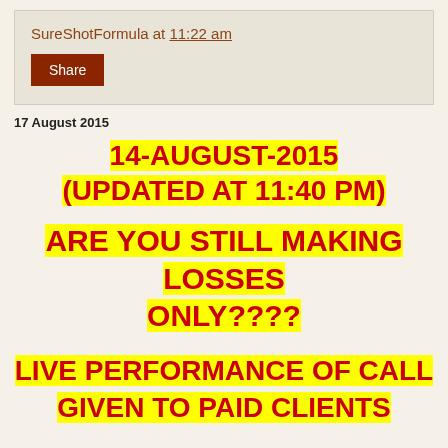SureShotFormula at 11:22 am
Share
17 August 2015
14-AUGUST-2015 (UPDATED AT 11:40 PM)
ARE YOU STILL MAKING LOSSES ONLY????
LIVE PERFORMANCE OF CALL GIVEN TO PAID CLIENTS